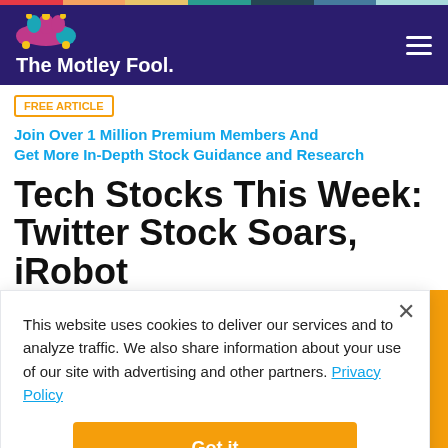The Motley Fool
FREE ARTICLE  Join Over 1 Million Premium Members And Get More In-Depth Stock Guidance and Research
Tech Stocks This Week: Twitter Stock Soars, iRobot Stock Plummets, and More
This website uses cookies to deliver our services and to analyze traffic. We also share information about your use of our site with advertising and other partners. Privacy Policy
Got it
Cookie Settings